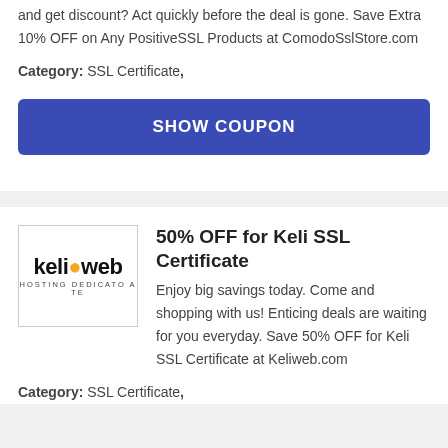and get discount? Act quickly before the deal is gone. Save Extra 10% OFF on Any PositiveSSL Products at ComodoSslStore.com
Category: SSL Certificate,
SHOW COUPON
[Figure (logo): Keliweb logo - black text with orange dot, subtitle 'HOSTING DEDICATO A TE']
50% OFF for Keli SSL Certificate
Enjoy big savings today. Come and shopping with us! Enticing deals are waiting for you everyday. Save 50% OFF for Keli SSL Certificate at Keliweb.com
Category: SSL Certificate,